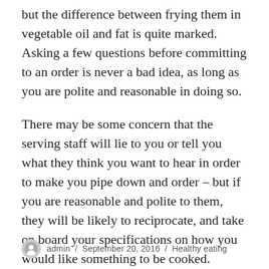but the difference between frying them in vegetable oil and fat is quite marked. Asking a few questions before committing to an order is never a bad idea, as long as you are polite and reasonable in doing so.
There may be some concern that the serving staff will lie to you or tell you what they think you want to hear in order to make you pipe down and order – but if you are reasonable and polite to them, they will be likely to reciprocate, and take on board your specifications on how you would like something to be cooked.
admin / September 20, 2016 / Healthy eating